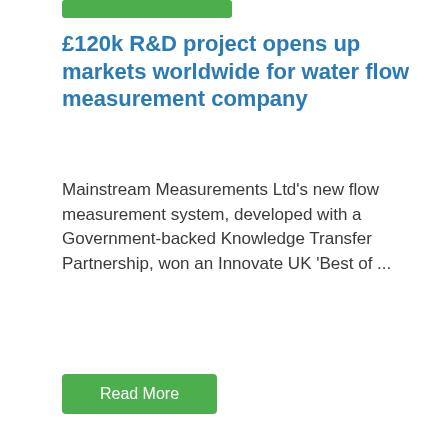£120k R&D project opens up markets worldwide for water flow measurement company
Mainstream Measurements Ltd's new flow measurement system, developed with a Government-backed Knowledge Transfer Partnership, won an Innovate UK 'Best of ...
Read More
Its time to engineer change and address the gender gap in Ireland
8th of March 2019 was International Women's Day (IWD) and Celtic Anglian Water Process Engineer Clionadh Williams is calling on ...